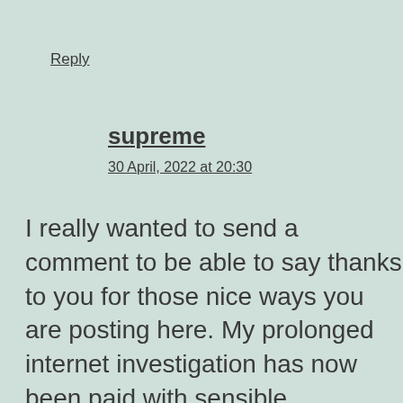Reply
supreme
30 April, 2022 at 20:30
I really wanted to send a comment to be able to say thanks to you for those nice ways you are posting here. My prolonged internet investigation has now been paid with sensible suggestions to go over with my neighbours. I ‘d state that that most of us site visitors actually are undoubtedly lucky to dwell in a great